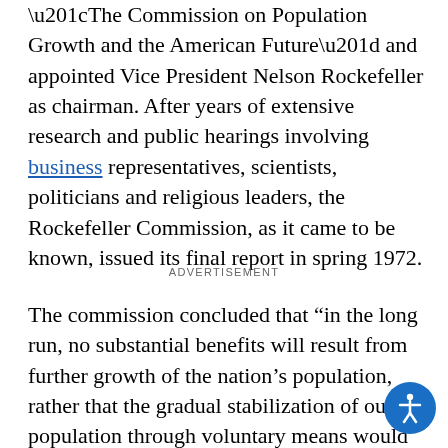“The Commission on Population Growth and the American Future” and appointed Vice President Nelson Rockefeller as chairman. After years of extensive research and public hearings involving business representatives, scientists, politicians and religious leaders, the Rockefeller Commission, as it came to be known, issued its final report in spring 1972.
ADVERTISEMENT
The commission concluded that “in the long run, no substantial benefits will result from further growth of the nation’s population, rather that the gradual stabilization of our population through voluntary means would contribute significantly to the nation’s ability to solve its problems. We have looked for, and have not found, any convincing economic argument